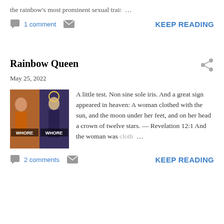the rainbow's most prominent sexual trait …
1 comment  [email icon]  KEEP READING
Rainbow Queen
May 25, 2022
[Figure (photo): Book cover image showing two figures with text 'WHORE WHORE']
A little test. Non sine sole iris. And a great sign appeared in heaven: A woman clothed with the sun, and the moon under her feet, and on her head a crown of twelve stars. — Revelation 12:1 And the woman was cloth …
2 comments  [email icon]  KEEP READING